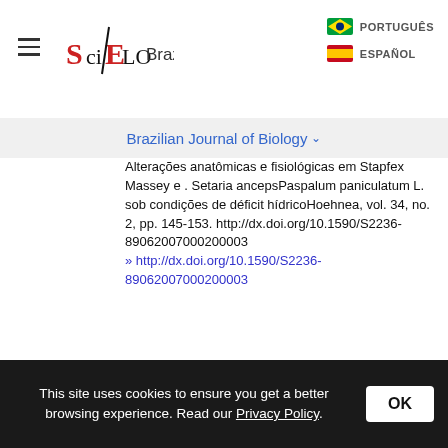SciELO Brazil — PORTUGUÊS / ESPAÑOL
Brazilian Journal of Biology
Alterações anatômicas e fisiológicas em Stapfex Massey e . Setaria ancepsPaspalum paniculatum L. sob condições de déficit hídricoHoehnea, vol. 34, no. 2, pp. 145-153. http://dx.doi.org/10.1590/S2236-89062007000200003
» http://dx.doi.org/10.1590/S2236-89062007000200003
METCALFE, C.R. and CHALK, L., 1960. Anatomy of monocotyledons: Gramíneae. Oxford: Clarendon Press, 1960, vol. 1.
This site uses cookies to ensure you get a better browsing experience. Read our Privacy Policy.